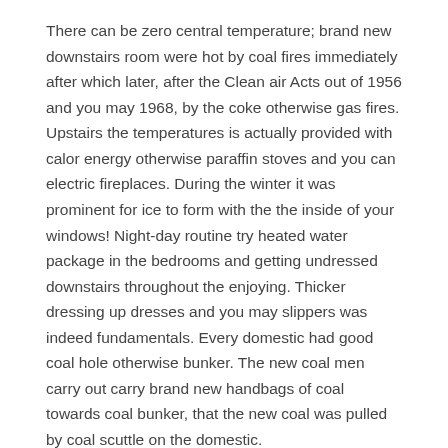There can be zero central temperature; brand new downstairs room were hot by coal fires immediately after which later, after the Clean air Acts out of 1956 and you may 1968, by the coke otherwise gas fires. Upstairs the temperatures is actually provided with calor energy otherwise paraffin stoves and you can electric fireplaces. During the winter it was prominent for ice to form with the the inside of your windows! Night-day routine try heated water package in the bedrooms and getting undressed downstairs throughout the enjoying. Thicker dressing up dresses and you may slippers was indeed fundamentals. Every domestic had good coal hole otherwise bunker. The new coal men carry out carry brand new handbags of coal towards coal bunker, that the new coal was pulled by coal scuttle on the domestic.
On kitchen, refrigerators was in fact getting more prominent in the event freezers had been unheard of. It was not till the very early sixties one regional storage – there have been no food markets – become equipping basic suspended dinners such as